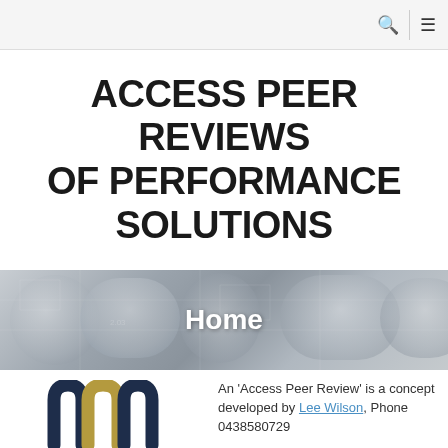ACCESS PEER REVIEWS OF PERFORMANCE SOLUTIONS
[Figure (photo): Rolled architectural blueprint drawings on a table, with 'Home' text overlay in white]
[Figure (logo): APR logo with dark navy and gold/tan stylized letters]
An 'Access Peer Review' is a concept developed by Lee Wilson, Phone 0438580729